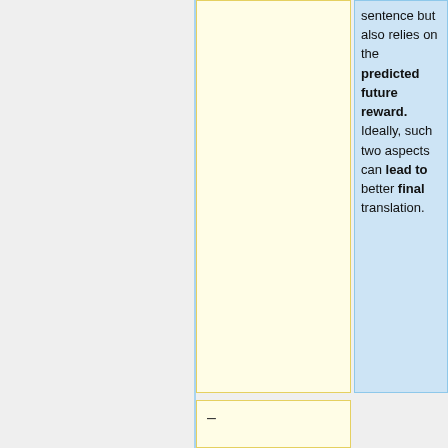sentence but also relies on the predicted future reward. Ideally, such two aspects can lead to better final translation.
-
2) Building another two modules for the value network, a semantic matching module and a context-coverage module. The semantic matching